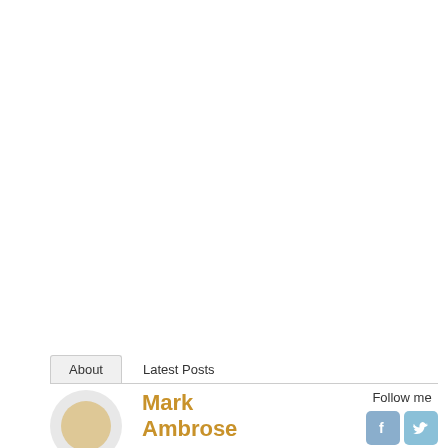About | Latest Posts
Mark Ambrose
Follow me